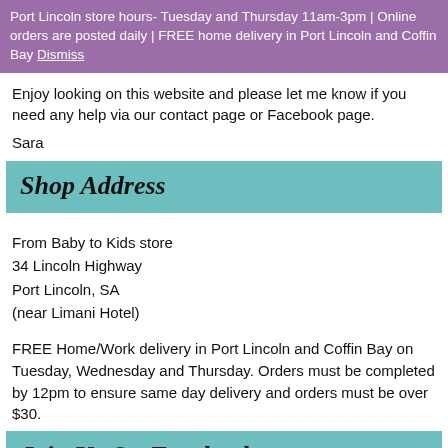Port Lincoln store hours- Tuesday and Thursday 11am-3pm | Online orders are posted daily | FREE home delivery in Port Lincoln and Coffin Bay Dismiss
Enjoy looking on this website and please let me know if you need any help via our contact page or Facebook page.
Sara
Shop Address
From Baby to Kids store
34 Lincoln Highway
Port Lincoln, SA
(near Limani Hotel)
FREE Home/Work delivery in Port Lincoln and Coffin Bay on Tuesday, Wednesday and Thursday. Orders must be completed by 12pm to ensure same day delivery and orders must be over $30.
Join Us On Facebook